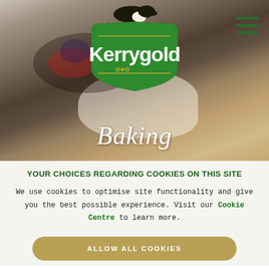[Figure (photo): Kerrygold website hero image showing a baked cake with white icing, raspberries and blueberries on top, with the word 'Baking' in italic white text overlaid. The Kerrygold logo (green shield with cow) is at the top center, and a hamburger menu icon is at the top right.]
YOUR CHOICES REGARDING COOKIES ON THIS SITE
We use cookies to optimise site functionality and give you the best possible experience. Visit our Cookie Centre to learn more.
ALLOW ALL COOKIES